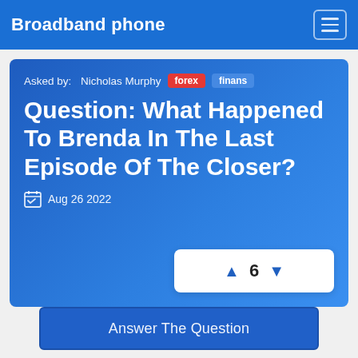Broadband phone
Asked by: Nicholas Murphy forex finans
Question: What Happened To Brenda In The Last Episode Of The Closer?
Aug 26 2022
▲ 6 ▼
Answer The Question